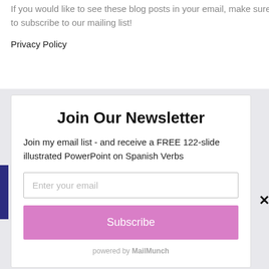If you would like to see these blog posts in your email, make sure to subscribe to our mailing list!
Privacy Policy
[Figure (screenshot): Newsletter signup modal popup with title 'Join Our Newsletter', description text, email input field, Subscribe button, and MailMunch branding]